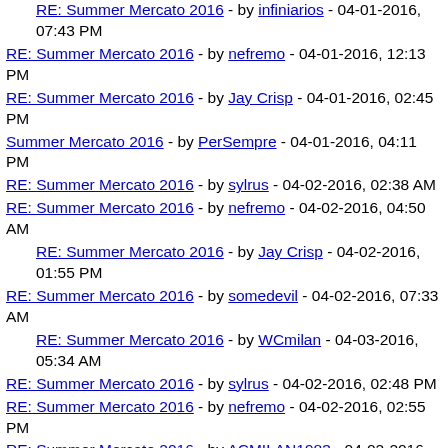RE: Summer Mercato 2016 - by infiniarios - 04-01-2016, 07:43 PM
RE: Summer Mercato 2016 - by nefremo - 04-01-2016, 12:13 PM
RE: Summer Mercato 2016 - by Jay Crisp - 04-01-2016, 02:45 PM
Summer Mercato 2016 - by PerSempre - 04-01-2016, 04:11 PM
RE: Summer Mercato 2016 - by sylrus - 04-02-2016, 02:38 AM
RE: Summer Mercato 2016 - by nefremo - 04-02-2016, 04:50 AM
RE: Summer Mercato 2016 - by Jay Crisp - 04-02-2016, 01:55 PM
RE: Summer Mercato 2016 - by somedevil - 04-02-2016, 07:33 AM
RE: Summer Mercato 2016 - by WCmilan - 04-03-2016, 05:34 AM
RE: Summer Mercato 2016 - by sylrus - 04-02-2016, 02:48 PM
RE: Summer Mercato 2016 - by nefremo - 04-02-2016, 02:55 PM
RE: Summer Mercato 2016 - by ACMILAN1983 - 04-02-2016, 08:39 PM
RE: Summer Mercato 2016 - by reza - 04-02-2016, 08:51 PM
RE: Summer Mercato 2016 - by Sampinjon - 04-02-2016, 08:16 PM